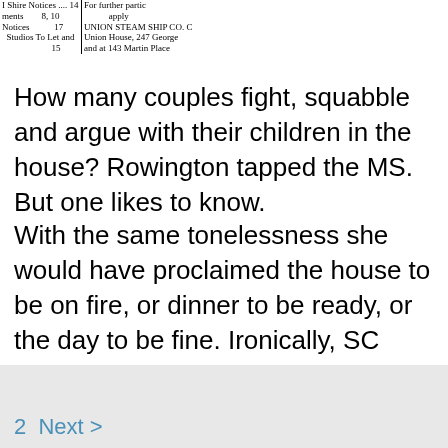[Figure (table-as-image): Scanned newspaper clipping showing a classified ads index table with columns listing categories like Shire Notices, Notices, Studios To Let and, with numbers 14, 8, 10, 17, and text about Union Steam Ship Co., Union House, 247 George, Martin Place]
How many couples fight, squabble and argue with their children in the house? Rowington tapped the MS. But one likes to know.
With the same tonelessness she would have proclaimed the house to be on fire, or dinner to be ready, or the day to be fine. Ironically, SC seem congenitally unable to empathise.
I agree and I am sorry to hear that.
Sweet touch massage oshawa